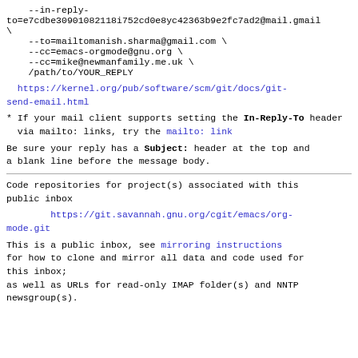--in-reply-to=e7cdbe30901082118i752cd0e8yc42363b9e2fc7ad2@mail.gmail\
    --to=mailtomanish.sharma@gmail.com \
    --cc=emacs-orgmode@gnu.org \
    --cc=mike@newmanfamily.me.uk \
    /path/to/YOUR_REPLY
https://kernel.org/pub/software/scm/git/docs/git-send-email.html
* If your mail client supports setting the In-Reply-To header
  via mailto: links, try the mailto: link
Be sure your reply has a Subject: header at the top and a blank line before the message body.
Code repositories for project(s) associated with this public inbox
https://git.savannah.gnu.org/cgit/emacs/org-mode.git
This is a public inbox, see mirroring instructions for how to clone and mirror all data and code used for this inbox;
as well as URLs for read-only IMAP folder(s) and NNTP newsgroup(s).